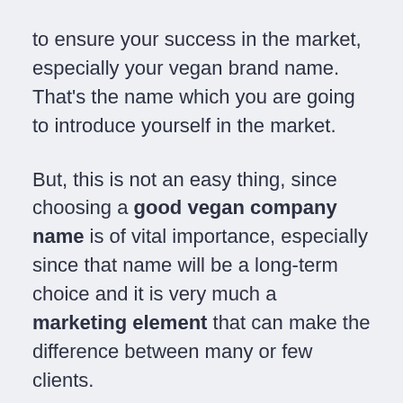to ensure your success in the market, especially your vegan brand name. That's the name which you are going to introduce yourself in the market.
But, this is not an easy thing, since choosing a good vegan company name is of vital importance, especially since that name will be a long-term choice and it is very much a marketing element that can make the difference between many or few clients.
Here we've put together these lists of 800+ Catchy, Cool, Good and Best vegan business